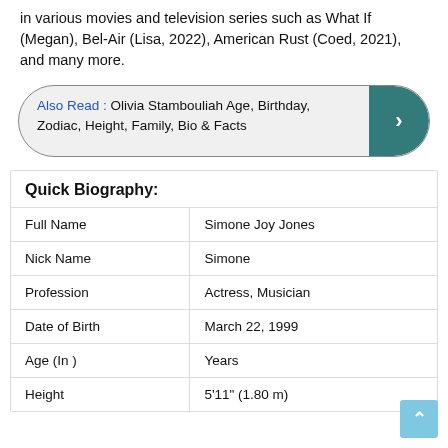in various movies and television series such as What If (Megan), Bel-Air (Lisa, 2022), American Rust (Coed, 2021), and many more.
Also Read : Olivia Stambouliah Age, Birthday, Zodiac, Height, Family, Bio & Facts
Quick Biography:
|  |  |
| --- | --- |
| Full Name | Simone Joy Jones |
| Nick Name | Simone |
| Profession | Actress, Musician |
| Date of Birth | March 22, 1999 |
| Age (In ) | Years |
| Height | 5'11" (1.80 m) |